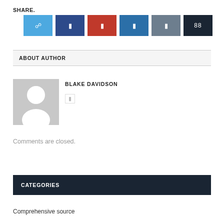SHARE.
[Figure (other): Row of six social share buttons: Twitter (light blue), Facebook (dark blue), Pinterest (red), LinkedIn (medium blue), Tumblr (grey-blue), counter (dark navy showing 88)]
ABOUT AUTHOR
[Figure (photo): Generic user avatar placeholder — grey square with white silhouette of a person]
BLAKE DAVIDSON
Comments are closed.
CATEGORIES
Comprehensive source